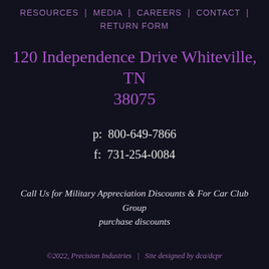RESOURCES | MEDIA | CAREERS | CONTACT | RETURN FORM
120 Independence Drive Whiteville, TN 38075
p:  800-649-7866
f:  731-254-0084
Call Us for Military Appreciation Discounts & For Car Club Group purchase discounts
©2022, Precision Industries   |   Site designed by dca/dcpr